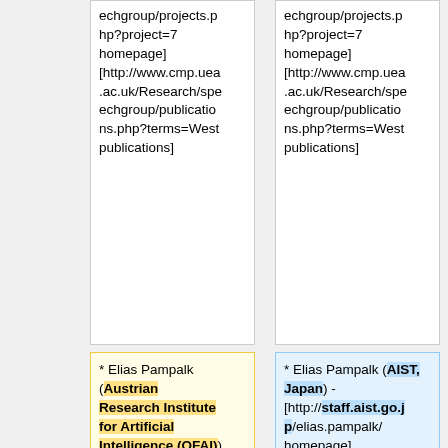echgroup/projects.php?project=7 homepage] [http://www.cmp.uea.ac.uk/Research/speechgroup/publications.php?terms=West publications]
echgroup/projects.php?project=7 homepage] [http://www.cmp.uea.ac.uk/Research/speechgroup/publications.php?terms=West publications]
* Elias Pampalk (Austrian Research Institute for Artificial Intelligence (OFAI)) - [http://www.ofai.at/~elias.pampalk/elias.html homepage] [http://www.ofai.at/~elias.pampalk/publications.html publications]
* Elias Pampalk (AIST, Japan) - [http://staff.aist.go.jp/elias.pampalk/ homepage]
* Paul Lamere (Sun Labs, Sun Microsystems) -
* Paul Lamere (Sun Labs, Sun Microsystems) -